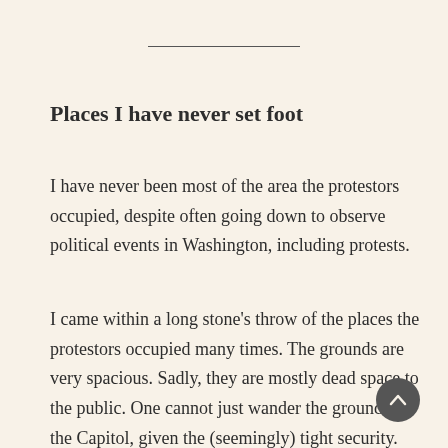Places I have never set foot
I have never been most of the area the protestors occupied, despite often going down to observe political events in Washington, including protests.
I came within a long stone's throw of the places the protestors occupied many times. The grounds are very spacious. Sadly, they are mostly dead space to the public. One cannot just wander the grounds of the Capitol, given the (seemingly) tight security. Security is so over-bulky at the best of times, in fact, that it is a considerable annoyance to go around it all